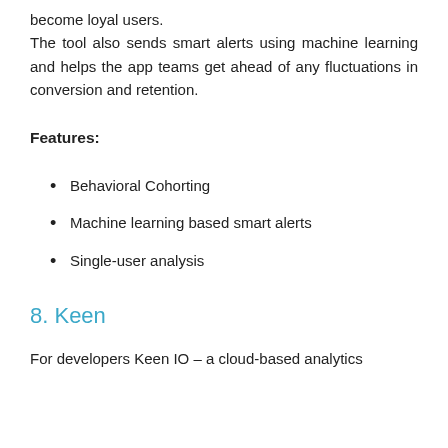become loyal users.
The tool also sends smart alerts using machine learning and helps the app teams get ahead of any fluctuations in conversion and retention.
Features:
Behavioral Cohorting
Machine learning based smart alerts
Single-user analysis
8. Keen
For developers Keen IO – a cloud-based analytics